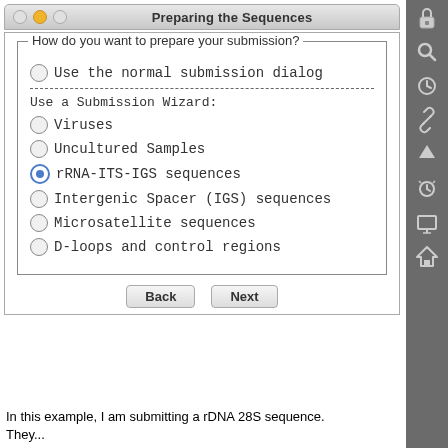[Figure (screenshot): Mac OS X dialog window titled 'Preparing the Sequences' with radio button options for submission type. Options include: 'Use the normal submission dialog', and under 'Use a Submission Wizard:' — Viruses, Uncultured Samples, rRNA-ITS-IGS sequences (selected), Intergenic Spacer (IGS) sequences, Microsatellite sequences, D-loops and control regions. Back and Next buttons at bottom.]
In this example, I am submitting a rDNA 28S sequence. They...